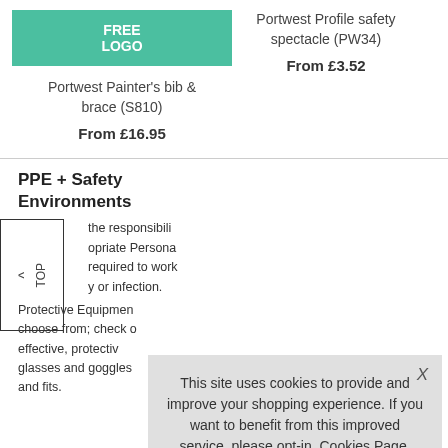[Figure (other): Green FREE LOGO badge banner above product listing]
Portwest Painter's bib & brace (S810)
From £16.95
Portwest Profile safety spectacle (PW34)
From £3.52
PPE + Safety Environments
the responsibilities ... appropriate Persona ... required to work ... y or infection.
Protective Equipmen ... choose from; check o ... effective, protectiv ... glasses and goggles ... and fits.
This site uses cookies to provide and improve your shopping experience. If you want to benefit from this improved service, please opt-in. Cookies Page.
I opt-in to a better browsing experience
Accept Cookies